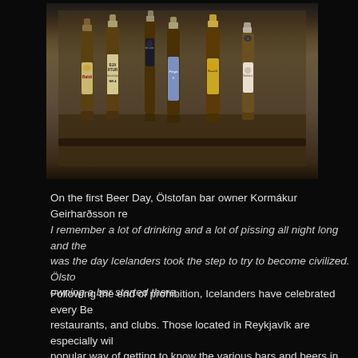[Figure (photo): Six brown glass beer bottles arranged in a group against a dark background, featuring various Icelandic craft beer labels including Baldi, Bjartur NR.4, and others]
On the first Beer Day, Ölstofan bar owner Kormákur Geirharðsson re
I remember a lot of drinking and a lot of pissing all night long and the was the day Icelanders took the step to try to become civilized. Ölsto owning a bar started there.
Following the end of prohibition, Icelanders have celebrated every Be restaurants, and clubs. Those located in Reykjavík are especially wil popular way of getting to know the various bars and beers in this city day. The legalization of beer remains a cultural milestone in Iceland.